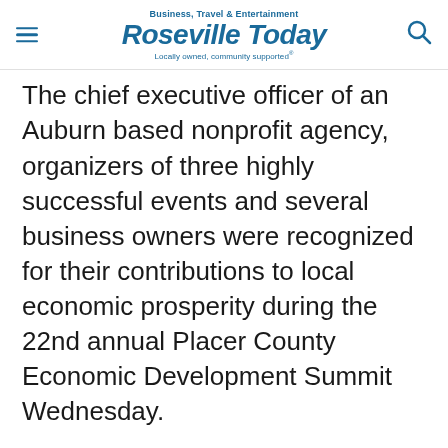Business, Travel & Entertainment | Roseville Today | Locally owned, community supported
The chief executive officer of an Auburn based nonprofit agency, organizers of three highly successful events and several business owners were recognized for their contributions to local economic prosperity during the 22nd annual Placer County Economic Development Summit Wednesday.
The Placer County Economic Development Board, the sponsor of the annual breakfast meeting, presented its first-ever Lifetime Achievement Award to Brent Smith, CEO of the Sierra Economic Development